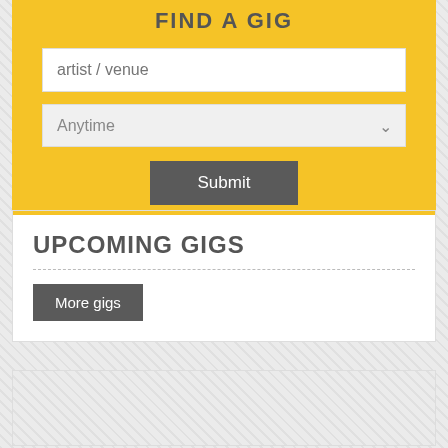FIND A GIG
artist / venue
Anytime
Submit
UPCOMING GIGS
More gigs